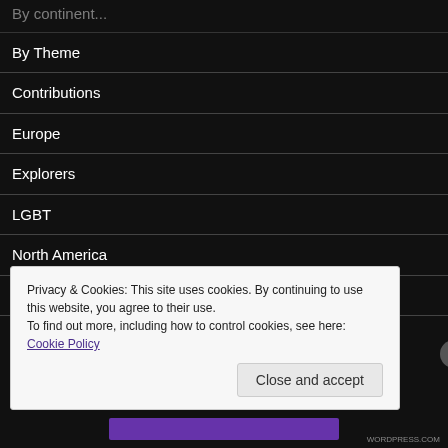By continent...
By Theme
Contributions
Europe
Explorers
LGBT
North America
On this day snapshots
Pi...
Privacy & Cookies: This site uses cookies. By continuing to use this website, you agree to their use.
To find out more, including how to control cookies, see here: Cookie Policy
Close and accept